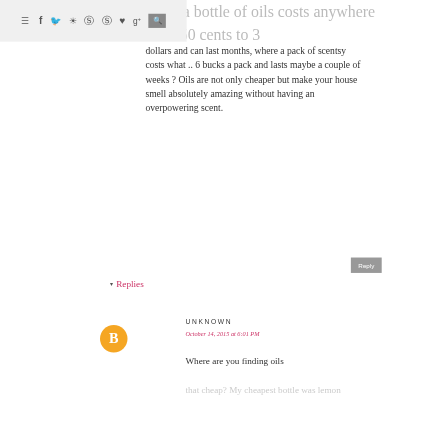Navigation bar with hamburger menu, social icons (f, twitter, instagram, pinterest, pinterest, heart, g+), and search button
oils ? a bottle of oils costs anywhere from 50 cents to 3 dollars and can last months, where a pack of scentsy costs what .. 6 bucks a pack and lasts maybe a couple of weeks ? Oils are not only cheaper but make your house smell absolutely amazing without having an overpowering scent.
Reply
Replies
UNKNOWN
October 14, 2015 at 6:01 PM
Where are you finding oils that cheap? My cheapest bottle was lemon